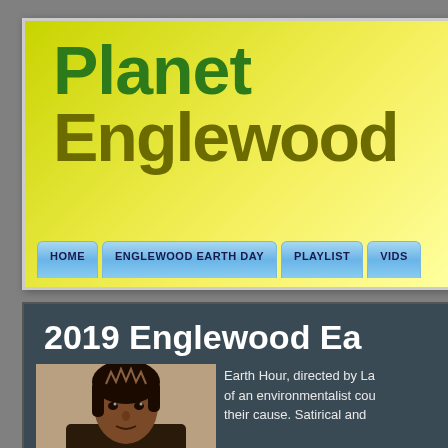[Figure (screenshot): Planet Englewood website banner with yellow-green gradient background, showing 'Planet Englewood' title in green and dark olive text, with navigation buttons: HOME, ENGLEWOOD EARTH DAY, PLAYLIST, VIDS]
2019 Englewood Ea
[Figure (photo): Close-up photo of a woman's face]
Earth Hour, directed by La of an environmentalist cou their cause. Satirical and